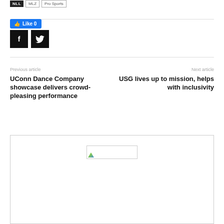NLL | MLZ | Pro Sports
[Figure (other): Facebook Like button showing count 0]
[Figure (other): Social share icons: Facebook (f) and Twitter (bird) black square buttons]
Previous article
Next article
UConn Dance Company showcase delivers crowd-pleasing performance
USG lives up to mission, helps with inclusivity
[Figure (other): Advertisement box with a partially loaded image placeholder]